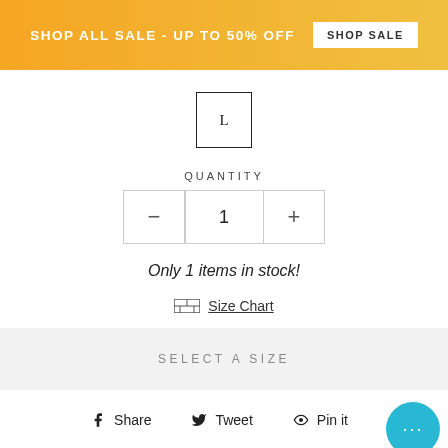SHOP ALL SALE - UP TO 50% OFF  SHOP SALE
[Figure (other): Size selector showing selected size 'L' in a square box]
QUANTITY
[Figure (other): Quantity selector with minus button, value 1, plus button]
Only 1 items in stock!
Size Chart
SELECT A SIZE
Share  Tweet  Pin it
Stay adventure-bound in Vuarilo, most versatile, everyday